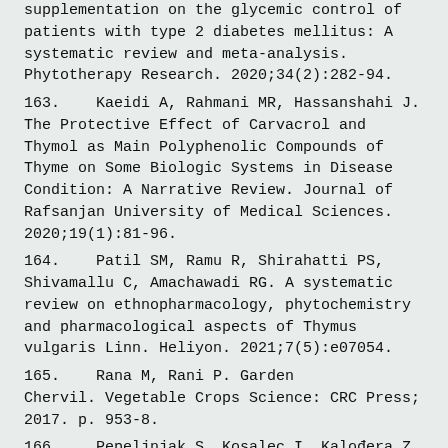supplementation on the glycemic control of patients with type 2 diabetes mellitus: A systematic review and meta-analysis. Phytotherapy Research. 2020;34(2):282-94.
163.   Kaeidi A, Rahmani MR, Hassanshahi J. The Protective Effect of Carvacrol and Thymol as Main Polyphenolic Compounds of Thyme on Some Biologic Systems in Disease Condition: A Narrative Review. Journal of Rafsanjan University of Medical Sciences. 2020;19(1):81-96.
164.   Patil SM, Ramu R, Shirahatti PS, Shivamallu C, Amachawadi RG. A systematic review on ethnopharmacology, phytochemistry and pharmacological aspects of Thymus vulgaris Linn. Heliyon. 2021;7(5):e07054.
165.   Rana M, Rani P. Garden Chervil. Vegetable Crops Science: CRC Press; 2017. p. 953-8.
166.   Pepeljnjak S, Kosalec I, Kalodera Z, Blažević N. Antimicrobial activity of...